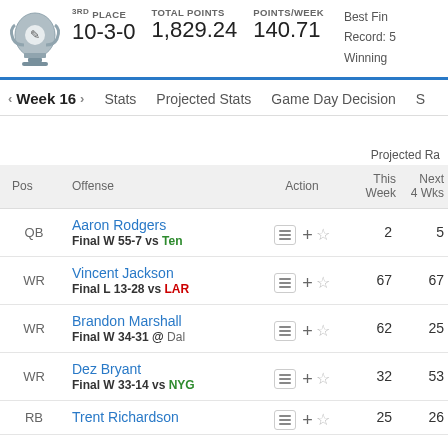[Figure (screenshot): Fantasy football team page header showing 3rd place trophy icon]
3RD PLACE 10-3-0 | TOTAL POINTS 1,829.24 | POINTS/WEEK 140.71 | Best Fin... Record: 5... Winning...
| Pos | Offense | Action | This Week | Next 4 Wks |
| --- | --- | --- | --- | --- |
| QB | Aaron Rodgers / Final W 55-7 vs Ten |  | 2 | 5 |
| WR | Vincent Jackson / Final L 13-28 vs LAR |  | 67 | 67 |
| WR | Brandon Marshall / Final W 34-31 @ Dal |  | 62 | 25 |
| WR | Dez Bryant / Final W 33-14 vs NYG |  | 32 | 53 |
| RB | Trent Richardson / ... |  | 25 | 26 |